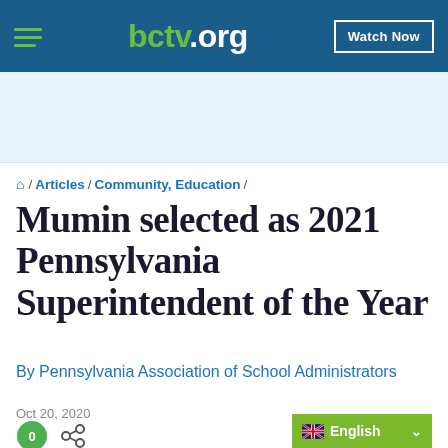bctv.org | Watch Now
⌂ / Articles / Community, Education /
Mumin selected as 2021 Pennsylvania Superintendent of the Year
By Pennsylvania Association of School Administrators
Oct 20, 2020